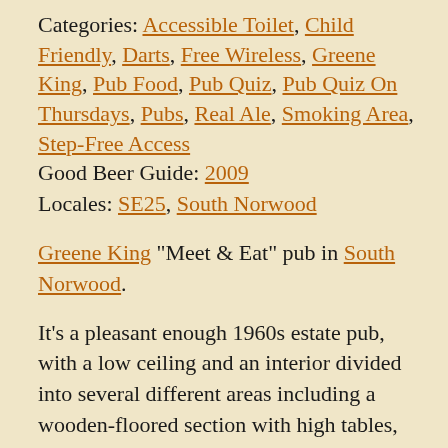Categories: Accessible Toilet, Child Friendly, Darts, Free Wireless, Greene King, Pub Food, Pub Quiz, Pub Quiz On Thursdays, Pubs, Real Ale, Smoking Area, Step-Free Access
Good Beer Guide: 2009
Locales: SE25, South Norwood
Greene King "Meet & Eat" pub in South Norwood.
It's a pleasant enough 1960s estate pub, with a low ceiling and an interior divided into several different areas including a wooden-floored section with high tables, and a couple of tucked-away carpeted sections with banquette seating. A dart board hangs on one wall. There are a couple of picnic benches out the front, and a part-covered patio smoking area at the back.
Kake has visited twice now, most recently in August 2019. In August 2016 two of the four handpumps were on, offering Otter Amber (£1.60/half) and Greene King IPA. The Otter came out of the pump fairly lively but was in